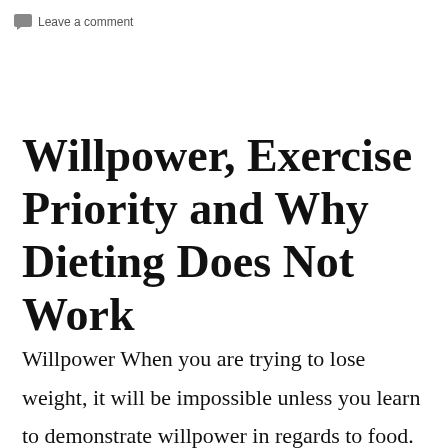Leave a comment
Willpower, Exercise Priority and Why Dieting Does Not Work
Willpower When you are trying to lose weight, it will be impossible unless you learn to demonstrate willpower in regards to food.